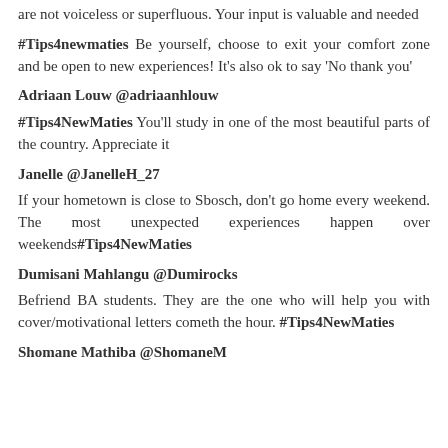are not voiceless or superfluous. Your input is valuable and needed
#Tips4newmaties Be yourself, choose to exit your comfort zone and be open to new experiences! It's also ok to say 'No thank you'
Adriaan Louw @adriaanhlouw
#Tips4NewMaties You'll study in one of the most beautiful parts of the country. Appreciate it
Janelle @JanelleH_27
If your hometown is close to Sbosch, don't go home every weekend. The most unexpected experiences happen over weekends#Tips4NewMaties
Dumisani Mahlangu @Dumirocks
Befriend BA students. They are the one who will help you with cover/motivational letters cometh the hour. #Tips4NewMaties
Shomane Mathiba @ShomaneM